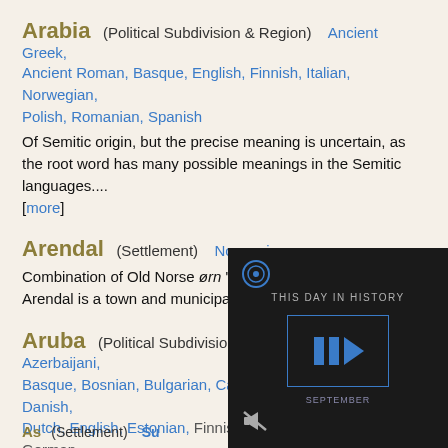Arabia
(Political Subdivision & Region)   Ancient Greek, Ancient Roman, Basque, English, Finnish, Italian, Norwegian, Polish, Romanian, Spanish
Of Semitic origin, but the precise meaning is uncertain, as the root word has many possible meanings in the Semitic languages.... [more]
Arendal
(Settlement)   Norwegian
Combination of Old Norse ørn "eagle" and dalr "valley, dale". Arendal is a town and municipality in Southern Norway.
Aruba
(Political Subdivision & Island)   Afrikaans, Azerbaijani, Basque, Bosnian, Bulgarian, Catalan, Croatian, Czech, Danish, Dutch, English, Estonian, Finnish, French, Georgian, German, Hungarian, Italian, Latvian, Polish, Portuguese, Romanian, Swedish, Turkish, Ukrainian
An island in the Caribbean... Netherlands.
[Figure (screenshot): Video overlay showing 'THIS DAY IN HISTORY' with a play button icon and September label, dark background]